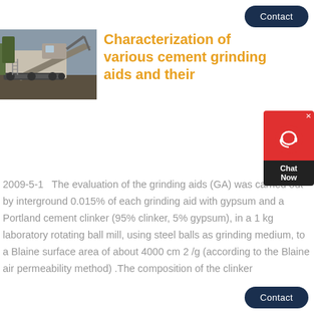Contact
[Figure (photo): Industrial crushing/screening machinery on a construction site]
Characterization of various cement grinding aids and their
2009-5-1   The evaluation of the grinding aids (GA) was carried out by interground 0.015% of each grinding aid with gypsum and a Portland cement clinker (95% clinker, 5% gypsum), in a 1 kg laboratory rotating ball mill, using steel balls as grinding medium, to a Blaine surface area of about 4000 cm 2 /g (according to the Blaine air permeability method) .The composition of the clinker
Contact